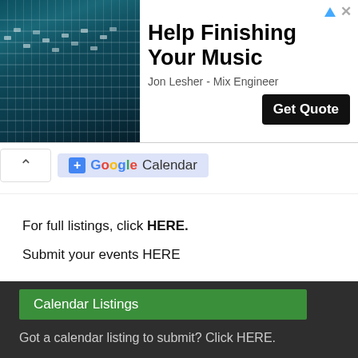[Figure (screenshot): Advertisement banner for 'Help Finishing Your Music' by Jon Lesher - Mix Engineer, with mixing board photo and Get Quote button]
[Figure (screenshot): Google Calendar button/pill]
For full listings, click HERE.
Submit your events HERE
Calendar Listings
Got a calendar listing to submit? Click HERE.
write for rampage
click here for deets
Recent Comments